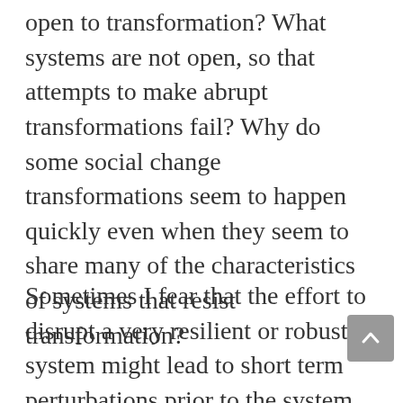open to transformation? What systems are not open, so that attempts to make abrupt transformations fail? Why do some social change transformations seem to happen quickly even when they seem to share many of the characteristics of systems that resist transformation?
Sometimes I fear that the effort to disrupt a very resilient or robust system might lead to short term perturbations prior to the system returning to its prior stable state. Are there cases where slow incremental efforts might actually push a system closer and closer to the new desired